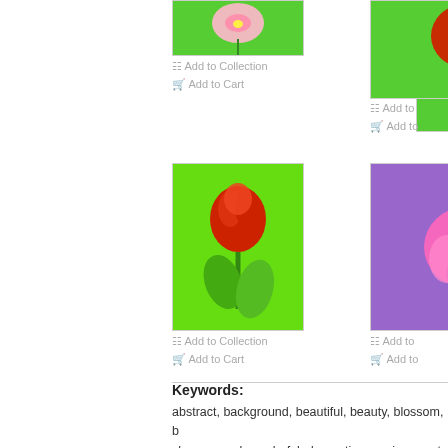[Figure (photo): Pink flower on green background, top center]
[Figure (photo): Red/dark flower on green background, top right (partially visible)]
Add to Collection
Add to Cart
Add to
Add to
[Figure (photo): Red tulip on bright green background, center]
[Figure (photo): Pink/purple flower on purple background, right (partially visible)]
Add to Collection
Add to Cart
Add to
Add to
Keywords:
abstract, background, beautiful, beauty, blossom, b
close-up, color, colorful, decoration, environment, e
holiday, ...